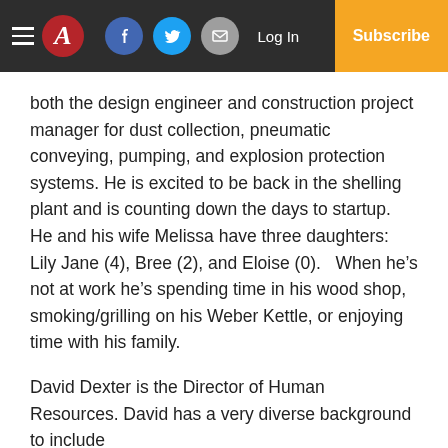Navigation bar with hamburger menu, logo (A), Facebook, Twitter, Email social icons, Log In link, and Subscribe button
both the design engineer and construction project manager for dust collection, pneumatic conveying, pumping, and explosion protection systems.  He is excited to be back in the shelling plant and is counting down the days to startup.  He and his wife Melissa have three daughters: Lily Jane (4), Bree (2), and Eloise (0).   When he’s not at work he’s spending time in his wood shop, smoking/grilling on his Weber Kettle, or enjoying time with his family.
David Dexter is the Director of Human Resources. David has a very diverse background to include